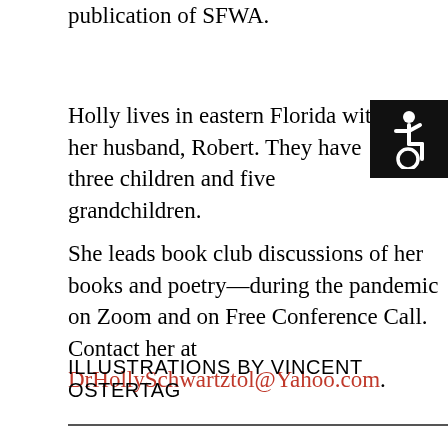publication of SFWA.
Holly lives in eastern Florida with her husband, Robert. They have three children and five grandchildren.
[Figure (illustration): Accessibility wheelchair icon — white wheelchair symbol on black square background]
She leads book club discussions of her books and poetry—during the pandemic on Zoom and on Free Conference Call. Contact her at DrHollySchwartztol@Yahoo.com.
ILLUSTRATIONS BY VINCENT OSTERTAG